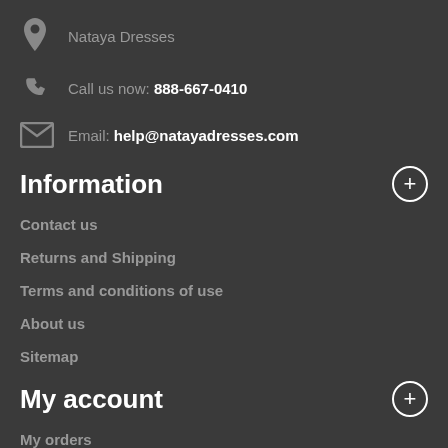Nataya Dresses
Call us now: 888-667-0410
Email: help@natayadresses.com
Information
Contact us
Returns and Shipping
Terms and conditions of use
About us
Sitemap
My account
My orders
My merchandise returns
My credit slips
My addresses